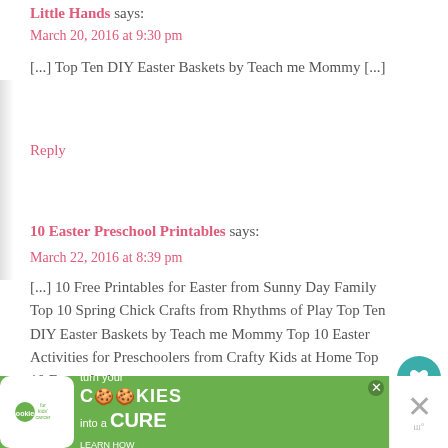Little Hands says:
March 20, 2016 at 9:30 pm
[...] Top Ten DIY Easter Baskets by Teach me Mommy [...]
Reply
10 Easter Preschool Printables says:
March 22, 2016 at 8:39 pm
[...] 10 Free Printables for Easter from Sunny Day Family Top 10 Spring Chick Crafts from Rhythms of Play Top Ten DIY Easter Baskets by Teach me Mommy Top 10 Easter Activities for Preschoolers from Crafty Kids at Home Top 10 Easter [...]
[Figure (infographic): Advertisement banner for cookies for kids' cancer: turn your cookies into a CURE, LEARN HOW]